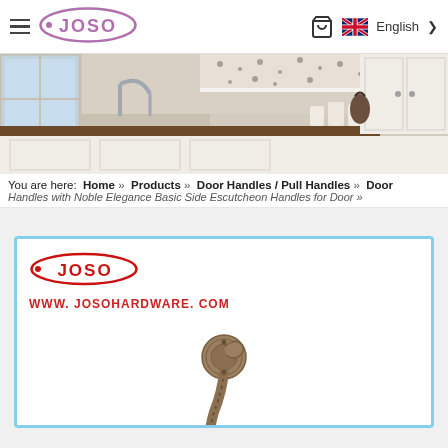[Figure (logo): JOSO logo in purple/mauve oval with hamburger menu icon on left]
[Figure (photo): Kitchen interior with white cabinets, brown countertop, sink, and hanging bag]
You are here:  Home  »  Products  »  Door Handles / Pull Handles  »  Door Handles with Noble Elegance Basic Side Escutcheon Handles for Door »
[Figure (screenshot): Product card with JOSO logo in red and www.josohardware.com, showing antique bronze door handle]
WWW. JOSOHARDWARE. COM